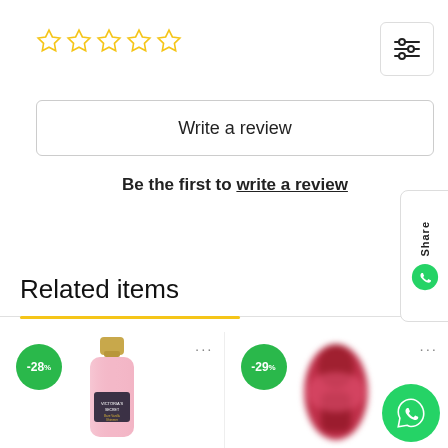[Figure (other): Five empty star rating icons in yellow outline]
[Figure (other): Filter/sliders icon button in top right corner]
Write a review
Be the first to write a review
Related items
[Figure (photo): Product card with -28% green badge and Victoria's Secret pink body mist bottle]
[Figure (photo): Product card with -29% green badge and blurred red/pink product]